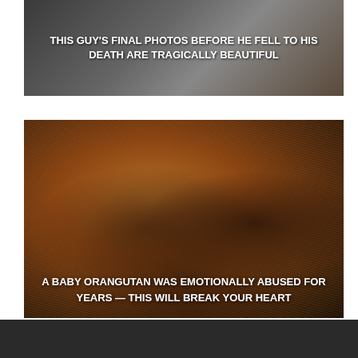[Figure (photo): A photo card with dark/moody background and text overlay reading: THIS GUY'S FINAL PHOTOS BEFORE HE FELL TO HIS DEATH ARE TRAGICALLY BEAUTIFUL]
[Figure (photo): A photo of a baby orangutan with fluffy orange-brown fur, huddled down, with text overlay reading: A BABY ORANGUTAN WAS EMOTIONALLY ABUSED FOR YEARS — THIS WILL BREAK YOUR HEART]